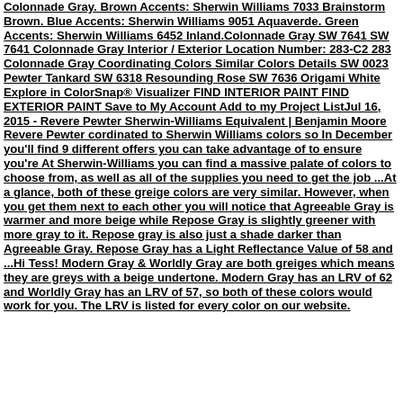Colonnade Gray. Brown Accents: Sherwin Williams 7033 Brainstorm Brown. Blue Accents: Sherwin Williams 9051 Aquaverde. Green Accents: Sherwin Williams 6452 Inland.Colonnade Gray SW 7641 SW 7641 Colonnade Gray Interior / Exterior Location Number: 283-C2 283 Colonnade Gray Coordinating Colors Similar Colors Details SW 0023 Pewter Tankard SW 6318 Resounding Rose SW 7636 Origami White Explore in ColorSnap® Visualizer FIND INTERIOR PAINT FIND EXTERIOR PAINT Save to My Account Add to my Project ListJul 16, 2015 - Revere Pewter Sherwin-Williams Equivalent | Benjamin Moore Revere Pewter cordinated to Sherwin Williams colors so In December you'll find 9 different offers you can take advantage of to ensure you're At Sherwin-Williams you can find a massive palate of colors to choose from, as well as all of the supplies you need to get the job ...At a glance, both of these greige colors are very similar. However, when you get them next to each other you will notice that Agreeable Gray is warmer and more beige while Repose Gray is slightly greener with more gray to it. Repose gray is also just a shade darker than Agreeable Gray. Repose Gray has a Light Reflectance Value of 58 and ...Hi Tess! Modern Gray & Worldly Gray are both greiges which means they are greys with a beige undertone. Modern Gray has an LRV of 62 and Worldly Gray has an LRV of 57, so both of these colors would work for you. The LRV is listed for every color on our website.